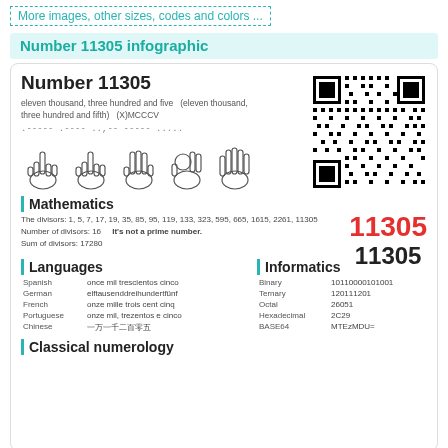More images, other sizes, codes and colors ...
Number 11305 infographic
Number 11305
eleven thousand, three hundred and five  (eleven thousand, three hundred and fifth)  (X)MCCCV
.----- .---- ..,-- ----- .....
[Figure (illustration): Five hand sign illustrations showing digits 1,1,3,0,5]
[Figure (other): QR code for number 11305]
11305 (red, large)
11305 (black, large)
Mathematics
The divisors: 1, 5, 7, 17, 19, 35, 85, 95, 119, 133, 323, 595, 665, 1615, 2261, 11305
Number of divisors: 16    It's not a prime number.
Sum of divisors: 17280
Languages
| Language | Text |
| --- | --- |
| Spanish | once mil trescientos cinco |
| German | elftausenddreihundertfünf |
| French | onze mille trois cent cinq |
| Portuguese | onze mil, trezentos e cinco |
| Chinese | 一万一千二百零五 |
Informatics
| System | Value |
| --- | --- |
| Binary | 10110000101001 |
| Ternary | 120111201 |
| Octal | 26051 |
| Hexadecimal | 2C29 |
| BASE64 | MTEzMDU= |
Classical numerology